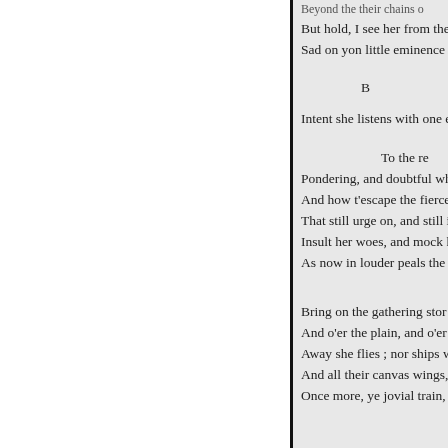Beyond the their chains o
But hold, I see her from the
Sad on yon little eminence s

B

Intent she listens with one e

To the re
Pondering, and doubtful wh
And how t'escape the fierce
That still urge on, and still i
Insult her woes, and mock h
As now in louder peals the

Bring on the gathering stor
And o'er the plain, and o'er
Away she flies ; nor ships w
And all their canvas wings,
Once more, ye jovial train,


A

With humble adulation cowering